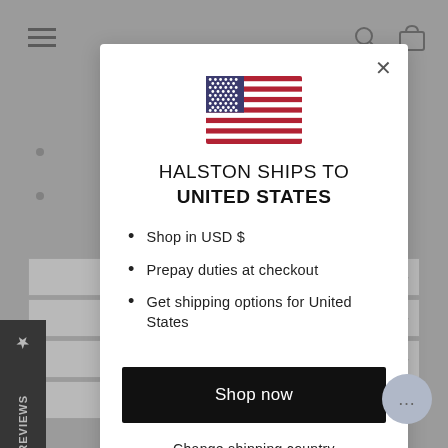[Figure (screenshot): Website background showing hamburger menu, search icon, bag icon, bulleted list items, accordion rows, and a black Reviews sidebar tab]
[Figure (illustration): US flag emoji/icon centered in the modal dialog]
HALSTON SHIPS TO UNITED STATES
Shop in USD $
Prepay duties at checkout
Get shipping options for United States
Shop now
Change shipping country